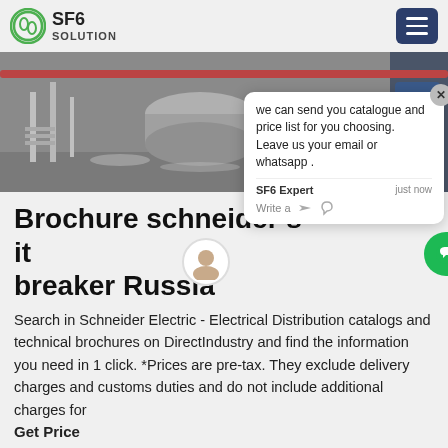SF6 SOLUTION
[Figure (photo): Industrial SF6 equipment in grayscale, showing large cylindrical tanks and machinery in a facility]
Brochure schneider sf6 circuit breaker Russia
Search in Schneider Electric - Electrical Distribution catalogs and technical brochures on DirectIndustry and find the information you need in 1 click. *Prices are pre-tax. They exclude delivery charges and customs duties and do not include additional charges for
Get Price